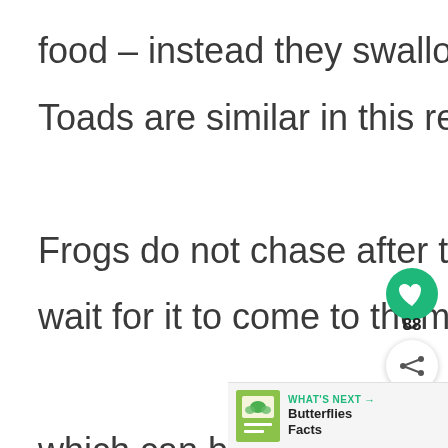food – instead they swallow their food whole. Toads are similar in this regard.

Frogs do not chase after their prey, but instead wait for it to come to them. Their tongue, which can be up to a thi…
[Figure (other): Green circular heart/like button UI element with count 88, and a share button below it]
[Figure (other): WHAT'S NEXT panel with Butterflies Facts thumbnail and label]